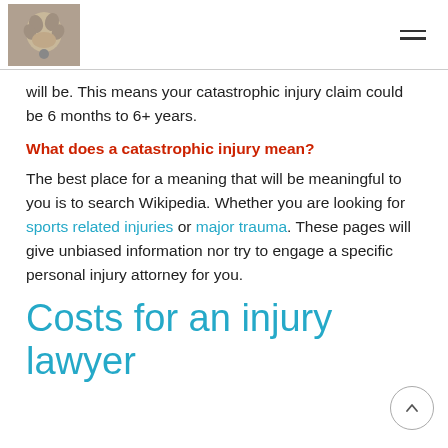will be. This means your catastrophic injury claim could be 6 months to 6+ years.
What does a catastrophic injury mean?
The best place for a meaning that will be meaningful to you is to search Wikipedia. Whether you are looking for sports related injuries or major trauma. These pages will give unbiased information nor try to engage a specific personal injury attorney for you.
Costs for an injury lawyer